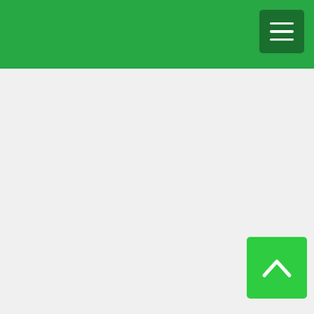it shows ones acti The NIV people m likely we once flov power children sixties th version spreads r love. Wh the NAS try hard a h m s Respect